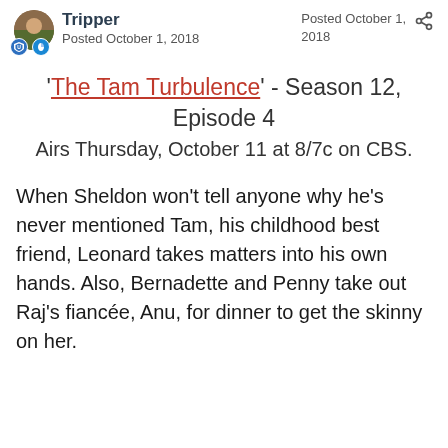Tripper
Posted October 1, 2018
Posted October 1, 2018
'The Tam Turbulence' - Season 12, Episode 4
Airs Thursday, October 11 at 8/7c on CBS.
When Sheldon won't tell anyone why he's never mentioned Tam, his childhood best friend, Leonard takes matters into his own hands. Also, Bernadette and Penny take out Raj's fiancée, Anu, for dinner to get the skinny on her.